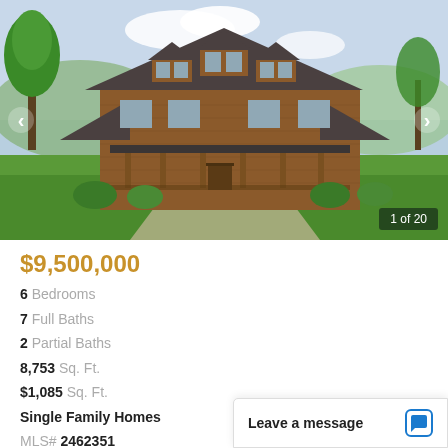[Figure (photo): Large wooden two-story single family home with covered front porch, dormer windows, green lawn and trees, mountain backdrop, with navigation arrows and '1 of 20' counter overlay]
$9,500,000
6 Bedrooms
7 Full Baths
2 Partial Baths
8,753 Sq. Ft.
$1,085 Sq. Ft.
Single Family Homes
MLS# 2462351
ID:  2462351
Leave a message